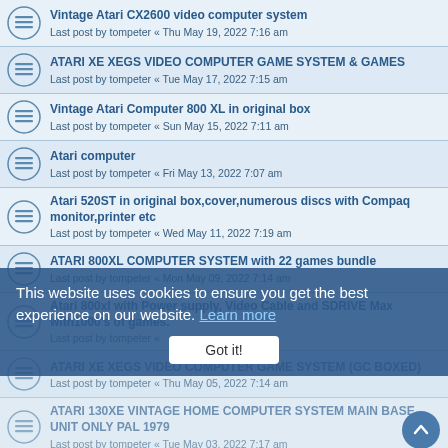Vintage Atari CX2600 video computer system
Last post by tompeter « Thu May 19, 2022 7:16 am
ATARI XE XEGS VIDEO COMPUTER GAME SYSTEM & GAMES
Last post by tompeter « Tue May 17, 2022 7:15 am
Vintage Atari Computer 800 XL in original box
Last post by tompeter « Sun May 15, 2022 7:11 am
Atari computer
Last post by tompeter « Fri May 13, 2022 7:07 am
Atari 520ST in original box,cover,numerous discs with Compaq monitor,printer etc
Last post by tompeter « Wed May 11, 2022 7:19 am
ATARI 800XL COMPUTER SYSTEM with 22 games bundle
Last post by tompeter « Mon May 09, 2022 7:14 am
Atari 800xl with Power supply, Video Cable and SDRIVE Max with1000's of games.
Last post by tompeter « ...
ATARI XE XEGS VIDEO COMPUTER GAME SYSTEM (GC BOXED)
Last post by tompeter « Thu May 05, 2022 7:14 am
ATARI 130XE VINTAGE HOME COMPUTER SYSTEM MAIN BASE UNIT ONLY PAL 1979
Last post by tompeter « Tue May 03, 2022 7:17 am
This website uses cookies to ensure you get the best experience on our website. Learn more
Got it!